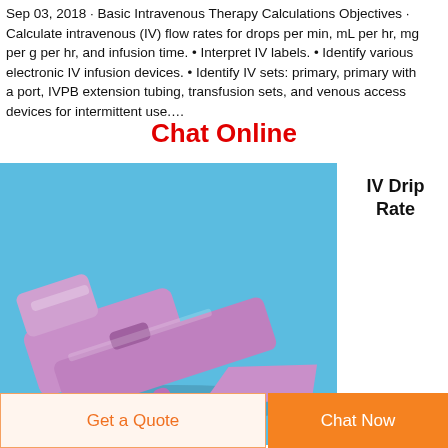Sep 03, 2018 · Basic Intravenous Therapy Calculations Objectives · Calculate intravenous (IV) flow rates for drops per min, mL per hr, mg per g per hr, and infusion time. • Interpret IV labels. • Identify various electronic IV infusion devices. • Identify IV sets: primary, primary with a port, IVPB extension tubing, transfusion sets, and venous access devices for intermittent use.…
Chat Online
[Figure (photo): A purple IV drip rate clamp/roller clamp device on a light blue background]
IV Drip Rate
Get a Quote
Chat Now